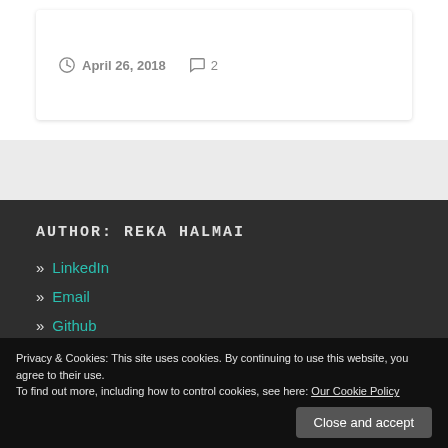April 26, 2018   2
AUTHOR: REKA HALMAI
» LinkedIn
» Email
» Github
Privacy & Cookies: This site uses cookies. By continuing to use this website, you agree to their use. To find out more, including how to control cookies, see here: Our Cookie Policy
Close and accept